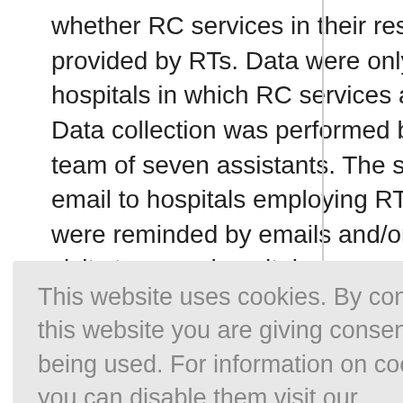whether RC services in their respective facilities are provided by RTs. Data were only gathered from hospitals in which RC services are provided by RTs. Data collection was performed by the author and a team of seven assistants. The survey was sent via email to hospitals employing RTs. Non-responders were reminded by emails and/or phone calls. Personal visits to some hospitals were needed to complete data gathering. Surveyed hospitals were classified into three sectors: MOH, non-MOH governmental, and
This website uses cookies. By continuing to use this website you are giving consent to cookies being used. For information on cookies and how you can disable them visit our
Privacy and Cookie Policy.
AGREE & PROCEED
provinces), and South (Al-Baha, Asir, Jazan, and